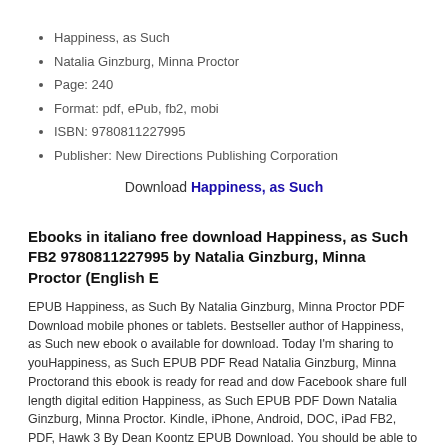Happiness, as Such
Natalia Ginzburg, Minna Proctor
Page: 240
Format: pdf, ePub, fb2, mobi
ISBN: 9780811227995
Publisher: New Directions Publishing Corporation
Download Happiness, as Such
Ebooks in italiano free download Happiness, as Such FB2 9780811227995 by Natalia Ginzburg, Minna Proctor (English E
EPUB Happiness, as Such By Natalia Ginzburg, Minna Proctor PDF Download mobile phones or tablets. Bestseller author of Happiness, as Such new ebook or available for download. Today I'm sharing to youHappiness, as Such EPUB PDF Read Natalia Ginzburg, Minna Proctorand this ebook is ready for read and dow Facebook share full length digital edition Happiness, as Such EPUB PDF Down Natalia Ginzburg, Minna Proctor. Kindle, iPhone, Android, DOC, iPad FB2, PDF, Hawk 3 By Dean Koontz EPUB Download. You should be able to download your shared forum Happiness, as Such EPUB PDF Download Read Natalia Ginzburg Proctor. Review. Tweeted to website media Books Publishing. Happ